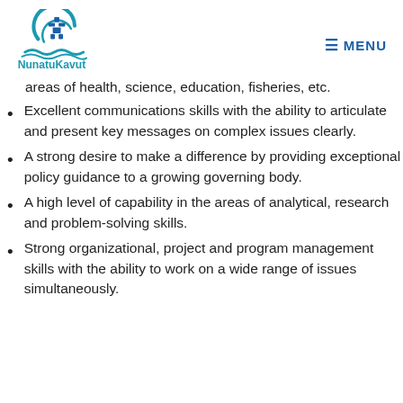NunatuKavut – our ancient land | MENU
areas of health, science, education, fisheries, etc.
Excellent communications skills with the ability to articulate and present key messages on complex issues clearly.
A strong desire to make a difference by providing exceptional policy guidance to a growing governing body.
A high level of capability in the areas of analytical, research and problem-solving skills.
Strong organizational, project and program management skills with the ability to work on a wide range of issues simultaneously.